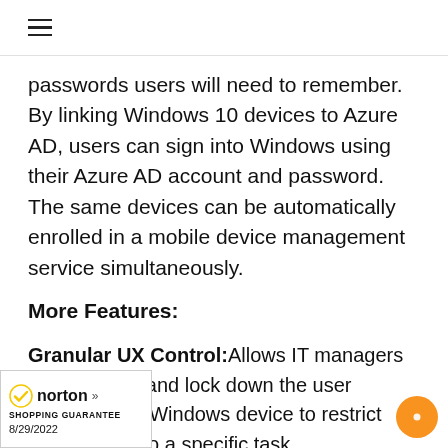≡
passwords users will need to remember. By linking Windows 10 devices to Azure AD, users can sign into Windows using their Azure AD account and password. The same devices can be automatically enrolled in a mobile device management service simultaneously.
More Features:
Granular UX Control: Allows IT managers to customize and lock down the user interface of a Windows device to restrict the machine to a specific task.
Enterprise Mode Internet Explorer: Older